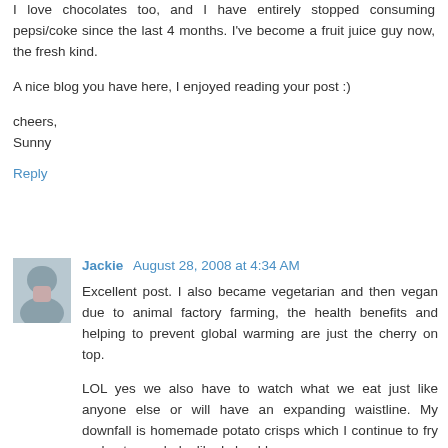I love chocolates too, and I have entirely stopped consuming pepsi/coke since the last 4 months. I've become a fruit juice guy now, the fresh kind.

A nice blog you have here, I enjoyed reading your post :)

cheers,
Sunny
Reply
Jackie August 28, 2008 at 4:34 AM
Excellent post. I also became vegetarian and then vegan due to animal factory farming, the health benefits and helping to prevent global warming are just the cherry on top.

LOL yes we also have to watch what we eat just like anyone else or will have an expanding waistline. My downfall is homemade potato crisps which I continue to fry and not oven bake like I should.